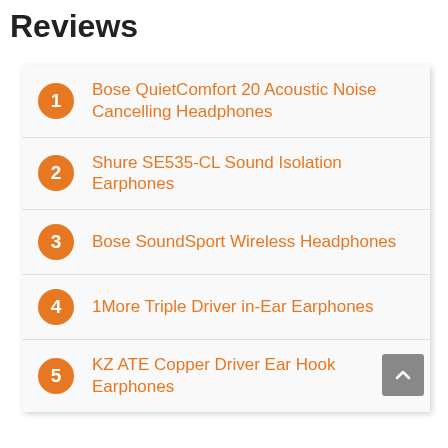Reviews
Bose QuietComfort 20 Acoustic Noise Cancelling Headphones
Shure SE535-CL Sound Isolation Earphones
Bose SoundSport Wireless Headphones
1More Triple Driver in-Ear Earphones
KZ ATE Copper Driver Ear Hook Earphones